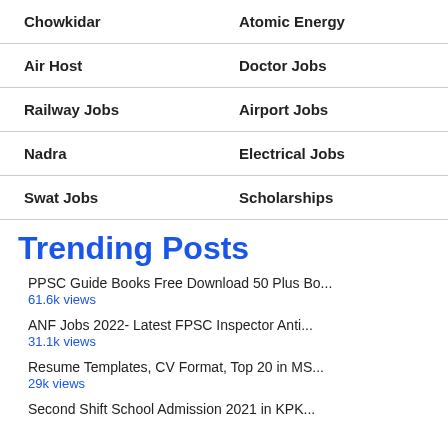| Chowkidar | Atomic Energy |
| Air Host | Doctor Jobs |
| Railway Jobs | Airport Jobs |
| Nadra | Electrical Jobs |
| Swat Jobs | Scholarships |
Trending Posts
PPSC Guide Books Free Download 50 Plus Bo... — 61.6k views
ANF Jobs 2022- Latest FPSC Inspector Anti... — 31.1k views
Resume Templates, CV Format, Top 20 in MS... — 29k views
Second Shift School Admission 2021 in KPK...